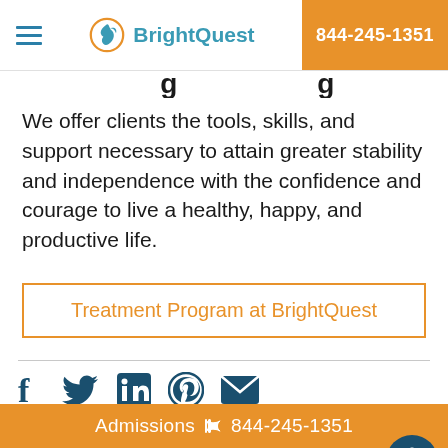BrightQuest | 844-245-1351
...g ...g (partial heading cut off)
We offer clients the tools, skills, and support necessary to attain greater stability and independence with the confidence and courage to live a healthy, happy, and productive life.
Treatment Program at BrightQuest
[Figure (infographic): Social share icons: Facebook, Twitter, LinkedIn, Pinterest, Email]
< Previous   Next >
Is Paranoid Personality Diso...
Admissions 844-245-1351